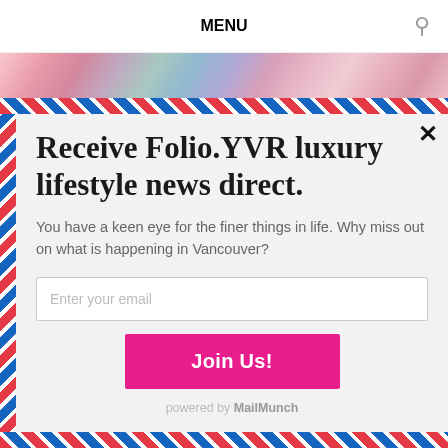MENU
[Figure (photo): Colorful glitter/powder close-up banner image in pinks, reds, blues and teals]
Receive Folio.YVR luxury lifestyle news direct.
You have a keen eye for the finer things in life. Why miss out on what is happening in Vancouver?
Enter your email
Join Us!
powered by MailMunch